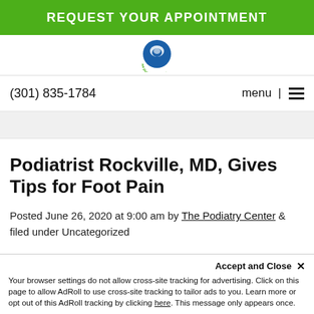REQUEST YOUR APPOINTMENT
[Figure (logo): Circular logo with blue center and green text 'we put your feet first']
(301) 835-1784
menu | ☰
Podiatrist Rockville, MD, Gives Tips for Foot Pain
Posted June 26, 2020 at 9:00 am by The Podiatry Center & filed under Uncategorized
Accept and Close ✕
Your browser settings do not allow cross-site tracking for advertising. Click on this page to allow AdRoll to use cross-site tracking to tailor ads to you. Learn more or opt out of this AdRoll tracking by clicking here. This message only appears once.